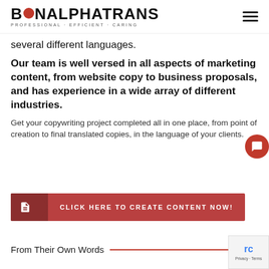BON ALPHATRANS PROFESSIONAL · EFFICIENT · CARING
several different languages.
Our team is well versed in all aspects of marketing content, from website copy to business proposals, and has experience in a wide array of different industries.
Get your copywriting project completed all in one place, from point of creation to final translated copies, in the language of your clients.
[Figure (other): Red call-to-action button with document icon and arrow: CLICK HERE TO CREATE CONTENT NOW!]
From Their Own Words